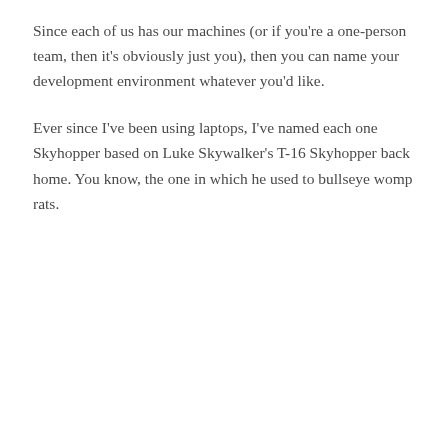Since each of us has our machines (or if you're a one-person team, then it's obviously just you), then you can name your development environment whatever you'd like.
Ever since I've been using laptops, I've named each one Skyhopper based on Luke Skywalker's T-16 Skyhopper back home. You know, the one in which he used to bullseye womp rats.